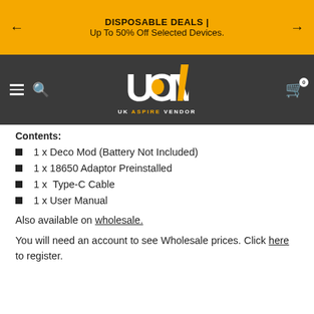DISPOSABLE DEALS | Up To 50% Off Selected Devices.
[Figure (logo): UK Aspire Vendor logo — stylized UOV letters in white and yellow on dark grey background, with text UK ASPIRE VENDOR below]
Contents:
1 x Deco Mod (Battery Not Included)
1 x 18650 Adaptor Preinstalled
1 x  Type-C Cable
1 x User Manual
Also available on wholesale.
You will need an account to see Wholesale prices. Click here to register.